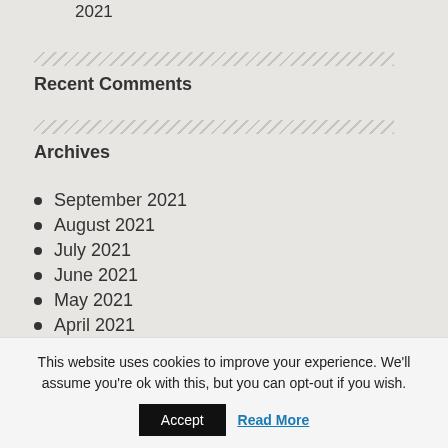2021
Recent Comments
Archives
September 2021
August 2021
July 2021
June 2021
May 2021
April 2021
March 2021
February 2021
This website uses cookies to improve your experience. We'll assume you're ok with this, but you can opt-out if you wish.